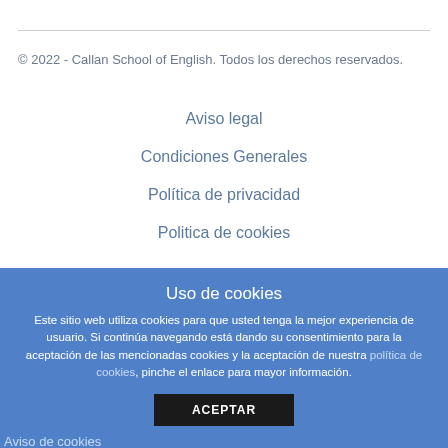© 2022 - Callan School of English. Todos los derechos reservados.
Aviso legal
Condiciones Generales
Política de privacidad
Politica de cookies
Uso de cookies
Este sitio web utiliza cookies para que usted tenga la mejor experiencia de usuario. Si continúa navegando está dando su consentimiento para la aceptación de las mencionadas cookies y la aceptación de nuestra política de cookies, pinche el enlace para mayor información.
ACEPTAR
Aviso de cookies